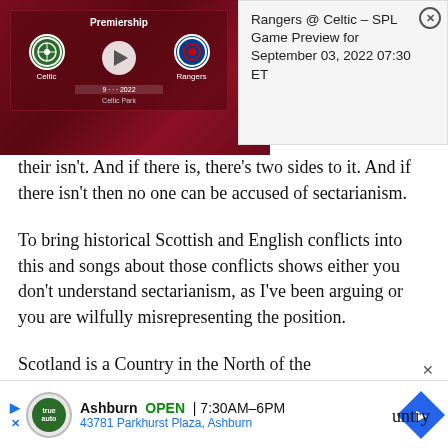[Figure (screenshot): Sports widget showing Celtic vs Rangers Premiership match at Celtic Park, with team logos and a play button, dated 2022]
[Figure (screenshot): Game preview popup: Rangers @ Celtic - SPL Game Preview for September 03, 2022 07:30 ET with close button]
their isn't. And if there is, there's two sides to it. And if there isn't then no one can be accused of sectarianism.
To bring historical Scottish and English conflicts into this and songs about those conflicts shows either you don't understand sectarianism, as I've been arguing or you are wilfully misrepresenting the position.
Scotland is a Country in the North of the
[Figure (screenshot): Advertisement banner: Ashburn OPEN 7:30AM-6PM, 43781 Parkhurst Plaza, Ashburn with auto logo and navigation arrow]